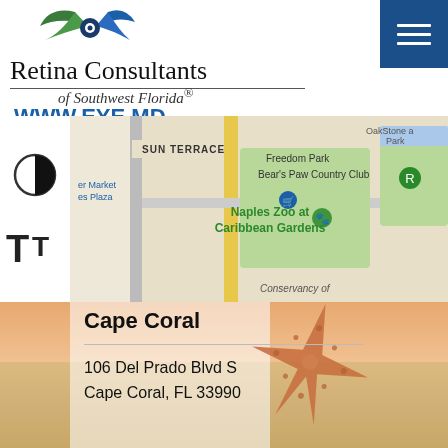[Figure (logo): Retina Consultants of Southwest Florida eye logo — stylized eye with green and blue swoosh shapes]
Retina Consultants
of Southwest Florida®
WWW.EYE.MD
[Figure (other): Blue square hamburger menu button with three white horizontal lines]
[Figure (map): Google Maps screenshot showing Naples Zoo at Caribbean Gardens, Bear's Paw Country Club, Freedom Park, OakStone Park, Sun Terrace neighborhood, Conservancy of, er Market, es Plaza]
[Figure (other): Contrast toggle icon (half black half white circle) and large text size toggle TT icon on left sidebar]
[Figure (photo): Starfish on sandy beach background photo]
Cape Coral
106 Del Prado Blvd S
Cape Coral, FL 33990